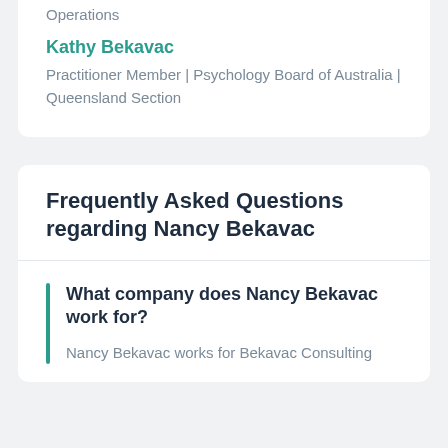Operations
Kathy Bekavac
Practitioner Member | Psychology Board of Australia | Queensland Section
Frequently Asked Questions regarding Nancy Bekavac
What company does Nancy Bekavac work for?
Nancy Bekavac works for Bekavac Consulting